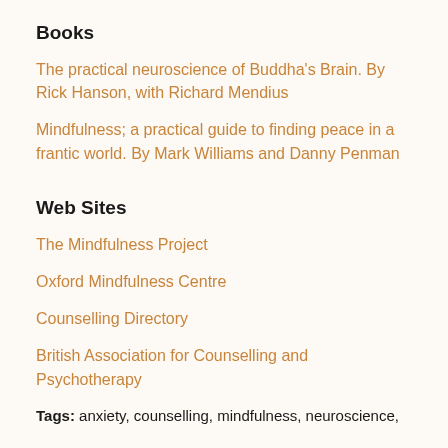Books
The practical neuroscience of Buddha's Brain. By Rick Hanson, with Richard Mendius
Mindfulness; a practical guide to finding peace in a frantic world. By Mark Williams and Danny Penman
Web Sites
The Mindfulness Project
Oxford Mindfulness Centre
Counselling Directory
British Association for Counselling and Psychotherapy
Tags: anxiety, counselling, mindfulness, neuroscience,